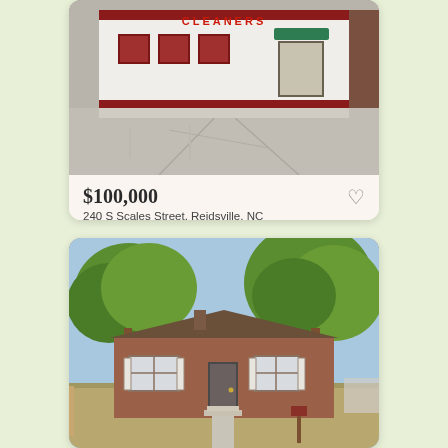[Figure (photo): Commercial building with 'CLEANERS' sign, white facade with red trim, multiple windows, green awning, large concrete parking area in front]
$100,000
240 S Scales Street, Reidsville, NC
Courtesy of Allen Tate Realtors
[Figure (photo): Brick ranch-style residential home with large trees in front yard, concrete walkway leading to front door, brown roof]